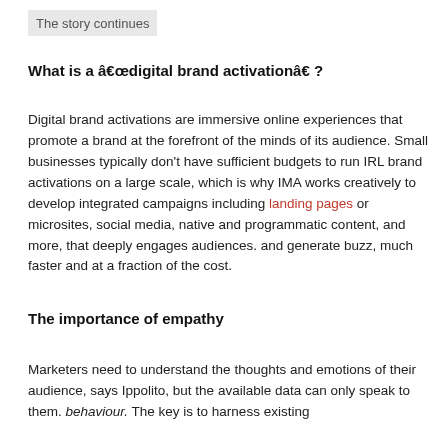The story continues
What is a â€œdigital brand activationâ€?
Digital brand activations are immersive online experiences that promote a brand at the forefront of the minds of its audience. Small businesses typically don’t have sufficient budgets to run IRL brand activations on a large scale, which is why IMA works creatively to develop integrated campaigns including landing pages or microsites, social media, native and programmatic content, and more, that deeply engages audiences. and generate buzz, much faster and at a fraction of the cost.
The importance of empathy
Marketers need to understand the thoughts and emotions of their audience, says Ippolito, but the available data can only speak to them. behaviour. The key is to harness existing